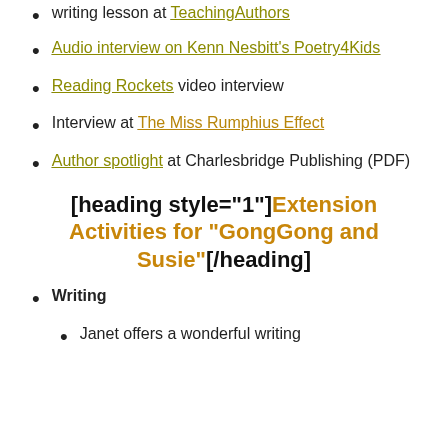writing lesson at TeachingAuthors
Audio interview on Kenn Nesbitt's Poetry4Kids
Reading Rockets video interview
Interview at The Miss Rumphius Effect
Author spotlight at Charlesbridge Publishing (PDF)
[heading style="1"]Extension Activities for "GongGong and Susie"[/heading]
Writing
Janet offers a wonderful writing